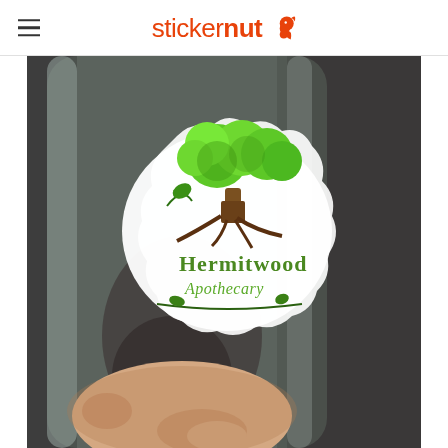stickernut (logo with squirrel icon)
[Figure (photo): A hand holding a clear glass bottle/jar with a Hermitwood Apothecary sticker on it. The sticker features a colorful illustrated logo with a green tree and the text 'Hermitwood Apothecary'. The background is dark/grey.]